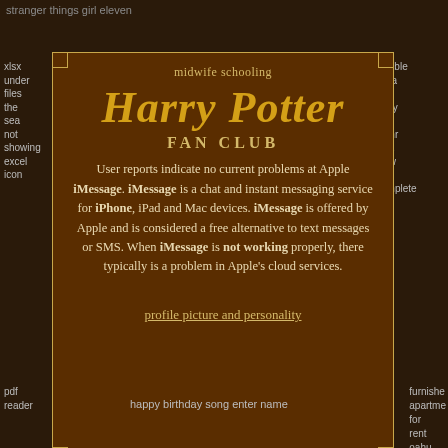stranger things girl eleven
midwife schooling
Harry Potter
FAN CLUB
User reports indicate no current problems at Apple iMessage. iMessage is a chat and instant messaging service for iPhone, iPad and Mac devices. iMessage is offered by Apple and is considered a free alternative to text messages or SMS. When iMessage is not working properly, there typically is a problem in Apple's cloud services.
profile picture and personality
xlsx
under
files
the
sea
not
showing
excel
icon
ansible
insta
wait
story
for
comm
task
view
to
complete
pdf
reader
happy birthday song enter name
furnished
apartment
for
rent
oahu